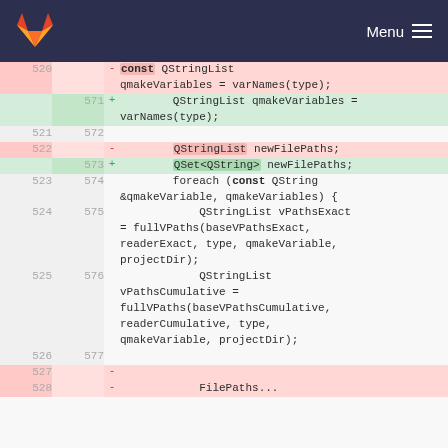[Figure (screenshot): GitLab navigation bar with orange fox logo on the left and Menu icon on the right, on dark navy background]
| old_line | new_line | op | code |
| --- | --- | --- | --- |
| 520 |  | - | const QStringList qmakeVariables = varNames(type); |
|  | 571 | + | QStringList qmakeVariables = varNames(type); |
| 521 | 572 |  |  |
| 522 |  | - | QStringList newFilePaths; |
|  | 573 | + | QSet<QString> newFilePaths; |
| 523 | 574 |  | foreach (const QString &qmakeVariable, qmakeVariables) { |
| 524 | 575 |  | QStringList vPathsExact = fullVPaths(baseVPathsExact, readerExact, type, qmakeVariable, projectDir); |
| 525 | 576 |  | QStringList vPathsCumulative = fullVPaths(baseVPathsCumulative, readerCumulative, type, qmakeVariable, projectDir); |
| 526 | 577 |  |  |
| 527 |  | - |  |
| 528 |  | - | FilePaths... |